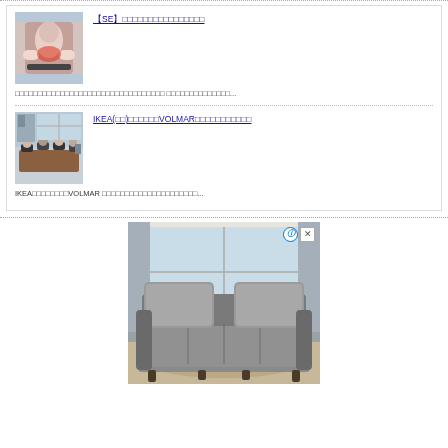[Figure (photo): Person holding lower back with red pain indication area highlighted]
【SE】□□□□□□□□□□□□□□□□
□□□□□□□□□□□□□□□□□□□□□□□□□□□□□□□□□ □□□□□□□□□□□□□□...
[Figure (photo): Office meeting room with people sitting around a table]
IKEA(□□)□□□□□□VOLMAR□□□□□□□□□□□
IKEA□□□□□□□□VOLMAR □□□□□□□□□□□□□□□□□□□□□...
[Figure (photo): Grey fabric sofa/sectional couch with back cushions, advertisement image]